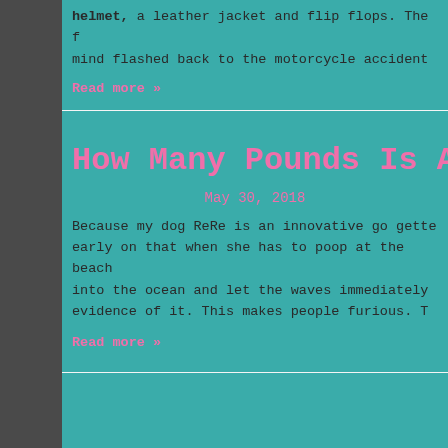helmet, a leather jacket and flip flops.  The f mind flashed back to the motorcycle accident
Read more »
How Many Pounds Is A W
May 30, 2018
Because my dog ReRe is an innovative go gette early on that when she has to poop at the beach into the ocean and let the waves immediately evidence of it.  This makes people furious.  T
Read more »